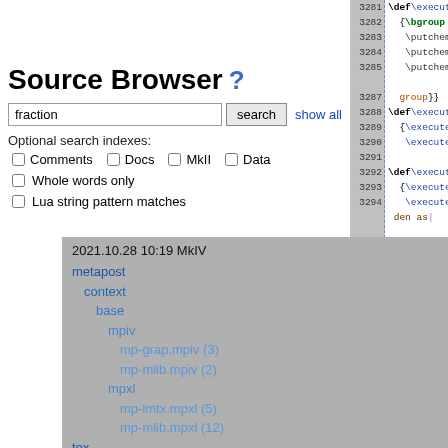Source Browser ?
fraction  [search]  show all
Optional search indexes:
Comments  Docs  MkII  Data
Whole words only
Lua string pattern matches
[Figure (screenshot): Source code panel showing TeX/ConTeXt code with line numbers 3281-3294, including \def\executechemicalcomplex#1, {\bgroup, \putchemicalrule {0}, \def\executechemicalOPENCOMPL, \def\executechemicalCLOSECOMP]
2021.10.28 10:19 MkIV
metapost
context
base
mpiv
mp-grap.mpiv (3)
mp-mlib.mpiv (2)
mpxl
mp-lmtx.mpxl (5)
mp-mlib.mpxl (12)
tex
context